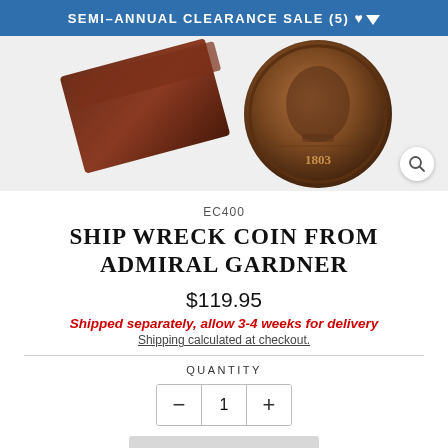SEMI-ANNUAL CLEARANCE SALE (5) ▼
[Figure (photo): Product photo showing a wooden box and an antique coin (Admiral Gardner shipwreck coin) on a white background with a search/zoom icon in the corner.]
EC400
SHIP WRECK COIN FROM ADMIRAL GARDNER
$119.95
Shipped separately, allow 3-4 weeks for delivery
Shipping calculated at checkout.
QUANTITY
− 1 +
SOLD OUT